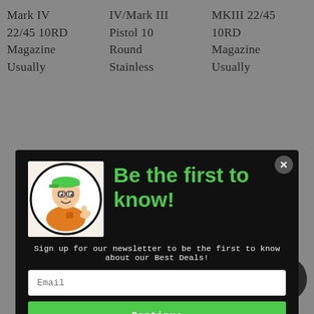Mark IV 22/45 10RD Magazine Usually
IV/Mark III Pistol 10 Round Stainless
MKIII 22/45 10RD Magazine Usually
[Figure (screenshot): Newsletter signup modal popup with dark background, mascot cartoon man giving thumbs up, green text 'Be the first to know!', email input field, Continue button, and No Thanks button]
Sign up for our newsletter to be the first to know about our Best Deals!
Reviews
[Figure (logo): TrustedSite Certified Secure badge with checkmark]
[Figure (illustration): Chat bubble icon in bottom right corner]